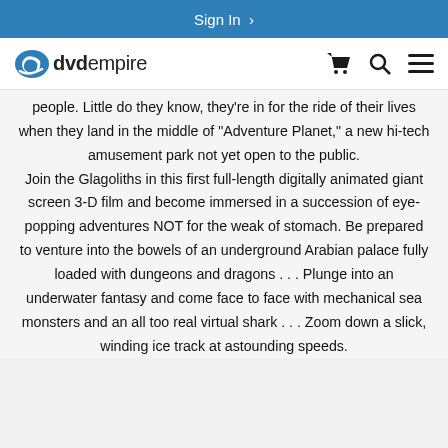Sign In >
[Figure (logo): DVD Empire logo with stylized blue swirl icon and text 'dvdempire']
people. Little do they know, they're in for the ride of their lives when they land in the middle of "Adventure Planet," a new hi-tech amusement park not yet open to the public. Join the Glagoliths in this first full-length digitally animated giant screen 3-D film and become immersed in a succession of eye-popping adventures NOT for the weak of stomach. Be prepared to venture into the bowels of an underground Arabian palace fully loaded with dungeons and dragons . . . Plunge into an underwater fantasy and come face to face with mechanical sea monsters and an all too real virtual shark . . . Zoom down a slick, winding ice track at astounding speeds.